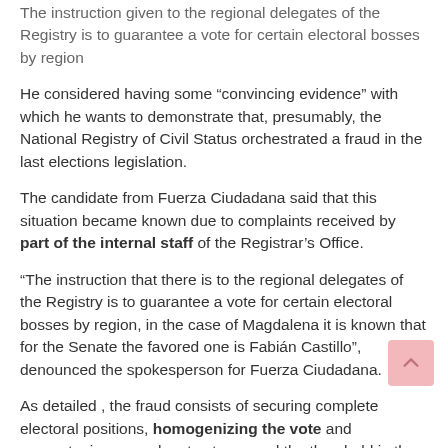The instruction given to the regional delegates of the Registry is to guarantee a vote for certain electoral bosses by region
He considered having some “convincing evidence” with which he wants to demonstrate that, presumably, the National Registry of Civil Status orchestrated a fraud in the last elections legislation.
The candidate from Fuerza Ciudadana said that this situation became known due to complaints received by part of the internal staff of the Registrar’s Office.
“The instruction that there is to the regional delegates of the Registry is to guarantee a vote for certain electoral bosses by region, in the case of Magdalena it is known that for the Senate the favored one is Fabián Castillo”, denounced the spokesperson for Fuerza Ciudadana.
As detailed , the fraud consists of securing complete electoral positions, homogenizing the vote and guaranteeing enough votes to exceed the threshold in the House, exactly as was done in 2018, according to what he